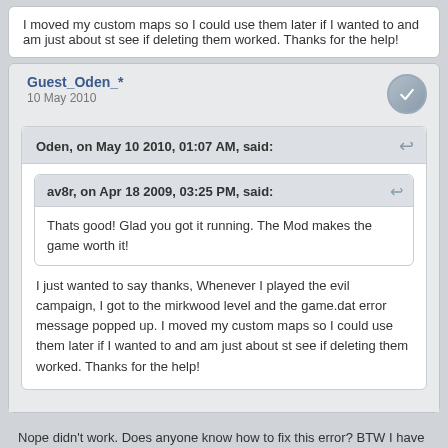I moved my custom maps so I could use them later if I wanted to and am just about st see if deleting them worked. Thanks for the help!
Guest_Oden_*
10 May 2010
Oden, on May 10 2010, 01:07 AM, said:
av8r, on Apr 18 2009, 03:25 PM, said:
Thats good! Glad you got it running. The Mod makes the game worth it!
I just wanted to say thanks, Whenever I played the evil campaign, I got to the mirkwood level and the game.dat error message popped up. I moved my custom maps so I could use them later if I wanted to and am just about st see if deleting them worked. Thanks for the help!
Nope didn't work. Does anyone know how to fix this error? BTW I have Windows seven 64 bit pro with a quad core if that helps